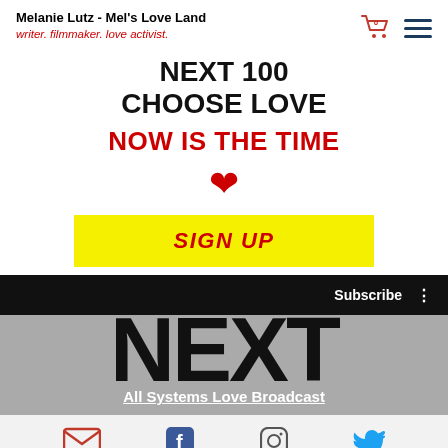Melanie Lutz - Mel's Love Land
writer. filmmaker. love activist.
NEXT 100
CHOOSE LOVE
NOW IS THE TIME
[Figure (illustration): Red heart emoji symbol]
SIGN UP
[Figure (screenshot): Video broadcast thumbnail showing 'NEXT' large text over gray background with Subscribe button bar and 'All Systems Love Broadcast' label]
Social icons: email, facebook, instagram, twitter